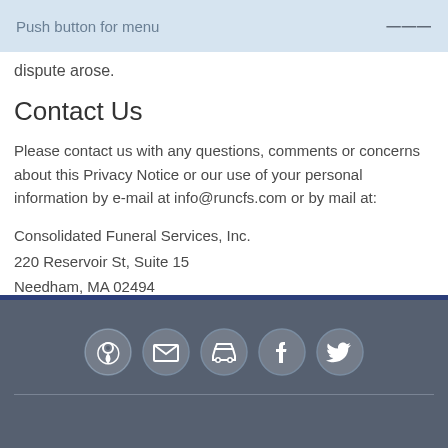Push button for menu
dispute arose.
Contact Us
Please contact us with any questions, comments or concerns about this Privacy Notice or our use of your personal information by e-mail at info@runcfs.com or by mail at:
Consolidated Funeral Services, Inc.
220 Reservoir St, Suite 15
Needham, MA 02494
[Figure (infographic): Five circular social media / contact icons in a row on a dark grey footer: location pin, envelope (email), car, Facebook, Twitter]